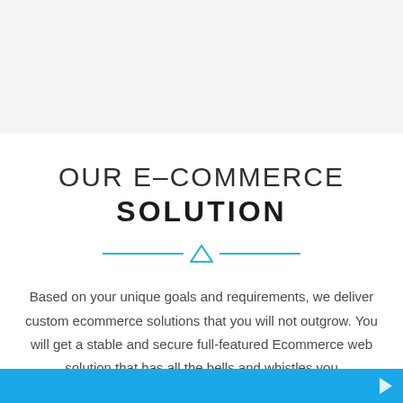[Figure (other): Gray header background area at top of page]
OUR E-COMMERCE SOLUTION
[Figure (other): Decorative horizontal divider with centered cyan triangle/chevron motif]
Based on your unique goals and requirements, we deliver custom ecommerce solutions that you will not outgrow. You will get a stable and secure full-featured Ecommerce web solution that has all the bells and whistles you
[Figure (other): Cyan/blue bottom bar with white arrow pointing right, partially obscuring last line of text]